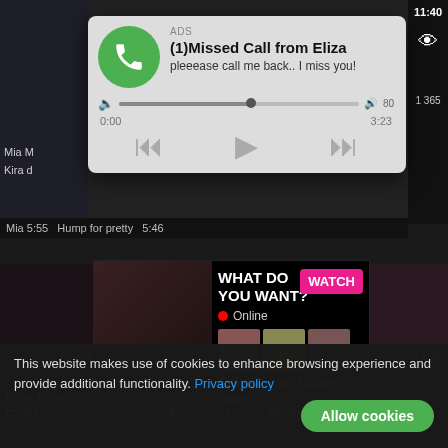[Figure (screenshot): Background adult video website grid with dark theme thumbnails]
[Figure (screenshot): Phone missed call notification ad overlay with green phone icon, title '(1)Missed Call from Eliza', subtitle 'pleeease call me back.. I miss you!', audio player with progress bar showing 0:00 / 3:23, and media controls (rewind, play, fast-forward)]
[Figure (screenshot): Adult content ad overlay with 'WHAT DO YOU WANT?' heading, pink WATCH button, Online indicator with red dot, three thumbnail images, text 'Cumming, ass fucking, squirt or...' and ADS label]
Mia M
Kira deserved a
Mia 5:55 Hump for pretty 5:46 1365
Priva Price Exotic
chinese stunner
This website makes use of cookies to enhance browsing experience and provide additional functionality. Privacy policy
Allow cookies